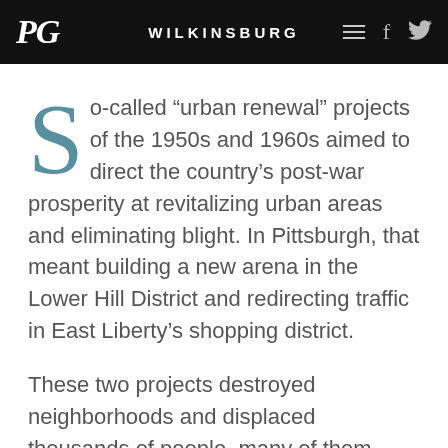PG | WILKINSBURG
So-called “urban renewal” projects of the 1950s and 1960s aimed to direct the country’s post-war prosperity at revitalizing urban areas and eliminating blight. In Pittsburgh, that meant building a new arena in the Lower Hill District and redirecting traffic in East Liberty’s shopping district.
These two projects destroyed neighborhoods and displaced thousands of people, many of them Black and extremely